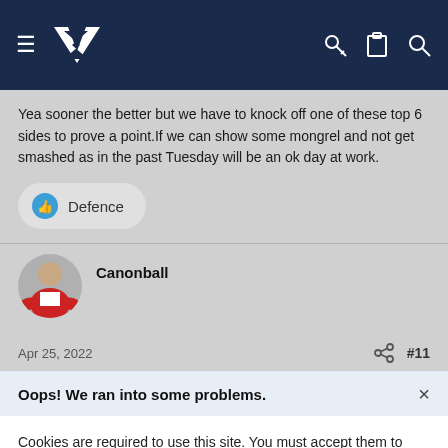Navigation bar with logo and icons
Yea sooner the better but we have to knock off one of these top 6 sides to prove a point.If we can show some mongrel and not get smashed as in the past Tuesday will be an ok day at work.
Defence
Canonball
Apr 25, 2022
#11
Oops! We ran into some problems.
Cookies are required to use this site. You must accept them to continue using the site.